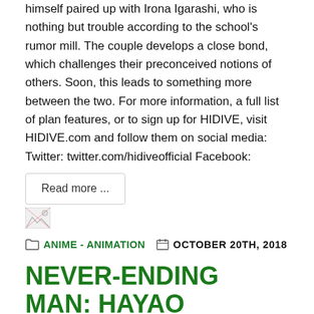himself paired up with Irona Igarashi, who is nothing but trouble according to the school's rumor mill. The couple develops a close bond, which challenges their preconceived notions of others. Soon, this leads to something more between the two. For more information, a full list of plan features, or to sign up for HIDIVE, visit HIDIVE.com and follow them on social media: Twitter: twitter.com/hidiveofficial Facebook:
Read more ...
[Figure (photo): Small broken/loading thumbnail image placeholder]
ANIME - ANIMATION   OCTOBER 20TH, 2018
NEVER-ENDING MAN: HAYAO MIYAZAKI - Documentary on Iconic, Academy Award-Winning Director & Studio